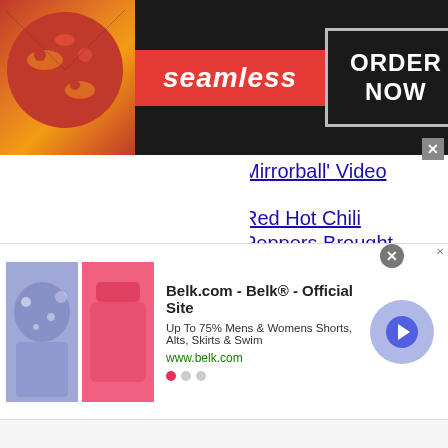[Figure (screenshot): Seamless food delivery banner ad with pizza image on left, red Seamless logo in center, and 'ORDER NOW' button in outlined box on right. Dark background.]
Mirrorball' Video
Red Hot Chili Peppers Brought Rock To VMAs
Fit For An Autopsy Reveal...
[Figure (screenshot): Belk.com advertisement banner with clothing images (floral and pink skirts), text 'Belk.com - Belk® - Official Site', 'Up To 75% Mens & Womens Shorts, Alts, Skirts & Swim', 'www.belk.com', and a circular arrow button. Close X button visible.]